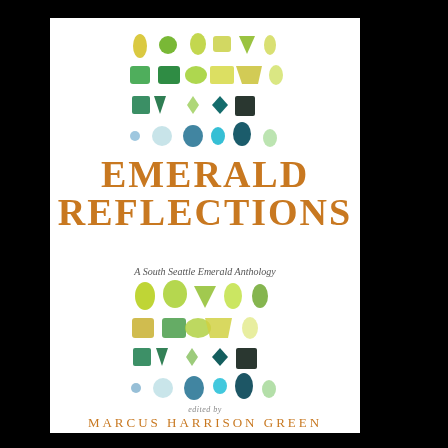[Figure (illustration): Book cover for 'Emerald Reflections: A South Seattle Emerald Anthology' edited by Marcus Harrison Green. White background with rows of illustrated green gemstones in various cuts and shades surrounding orange serif title text.]
EMERALD
REFLECTIONS
A South Seattle Emerald Anthology
edited by
MARCUS HARRISON GREEN